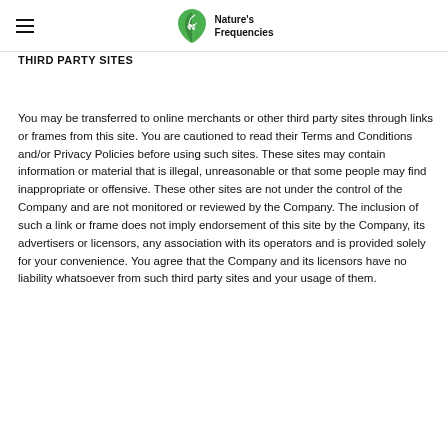Nature's Frequencies
THIRD PARTY SITES
You may be transferred to online merchants or other third party sites through links or frames from this site. You are cautioned to read their Terms and Conditions and/or Privacy Policies before using such sites. These sites may contain information or material that is illegal, unreasonable or that some people may find inappropriate or offensive. These other sites are not under the control of the Company and are not monitored or reviewed by the Company. The inclusion of such a link or frame does not imply endorsement of this site by the Company, its advertisers or licensors, any association with its operators and is provided solely for your convenience. You agree that the Company and its licensors have no liability whatsoever from such third party sites and your usage of them.